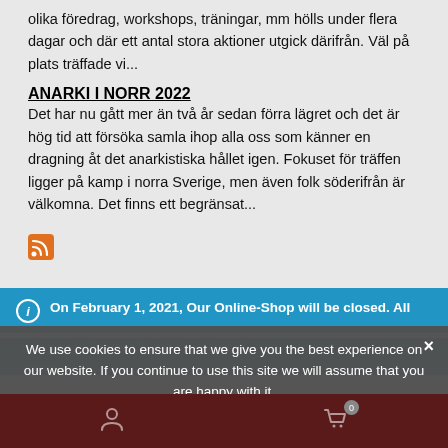olika föredrag, workshops, träningar, mm hölls under flera dagar och där ett antal stora aktioner utgick därifrån. Väl på plats träffade vi...
ANARKI I NORR 2022
Det har nu gått mer än två år sedan förra lägret och det är hög tid att försöka samla ihop alla oss som känner en dragning åt det anarkistiska hållet igen. Fokuset för träffen ligger på kamp i norra Sverige, men även folk söderifrån är välkomna. Det finns ett begränsat...
[Figure (other): RSS feed icon (orange square with white wifi/signal curves)]
On February 1, 2021, Our Online-Shop will be closed. All orders until January 31 will be delivered
Dismiss
We use cookies to ensure that we give you the best experience on our website. If you continue to use this site we will assume that you are happy with it.
Ok